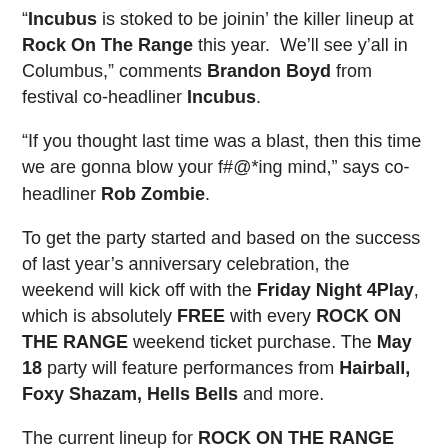“Incubus is stoked to be joinin’ the killer lineup at Rock On The Range this year.  We’ll see y’all in Columbus,” comments Brandon Boyd from festival co-headliner Incubus.
“If you thought last time was a blast, then this time we are gonna blow your f#@*ing mind,” says co-headliner Rob Zombie.
To get the party started and based on the success of last year’s anniversary celebration, the weekend will kick off with the Friday Night 4Play, which is absolutely FREE with every ROCK ON THE RANGE weekend ticket purchase. The May 18 party will feature performances from Hairball, Foxy Shazam, Hells Bells and more.
The current lineup for ROCK ON THE RANGE 2012 is